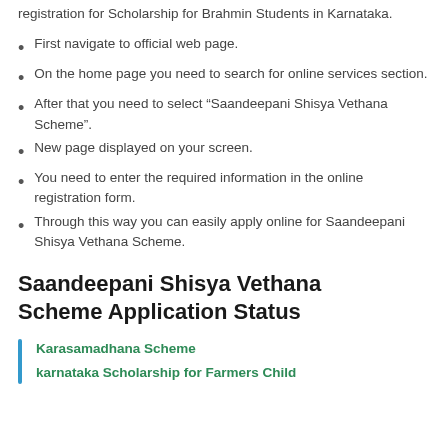registration for Scholarship for Brahmin Students in Karnataka.
First navigate to official web page.
On the home page you need to search for online services section.
After that you need to select “Saandeepani Shisya Vethana Scheme”.
New page displayed on your screen.
You need to enter the required information in the online registration form.
Through this way you can easily apply online for Saandeepani Shisya Vethana Scheme.
Saandeepani Shisya Vethana Scheme Application Status
Karasamadhana Scheme
karnataka Scholarship for Farmers Child